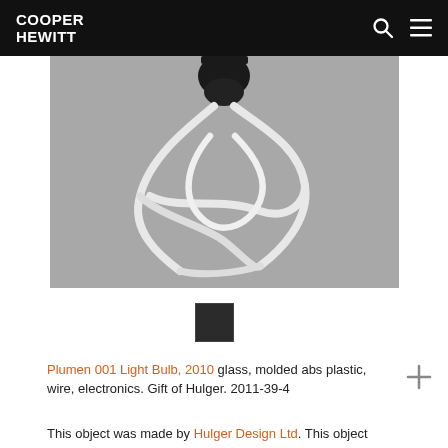COOPER HEWITT
[Figure (photo): Photo of the Plumen 001 Light Bulb against a grey background, showing a black cap at the top with twisted white fluorescent tubes forming a knotted, sculptural shape below.]
[Figure (photo): Small square thumbnail showing a dark view of the Plumen 001 light bulb]
Plumen 001 Light Bulb, 2010 glass, molded abs plastic, wire, electronics. Gift of Hulger. 2011-39-4
This object was made by Hulger Design Ltd. This object